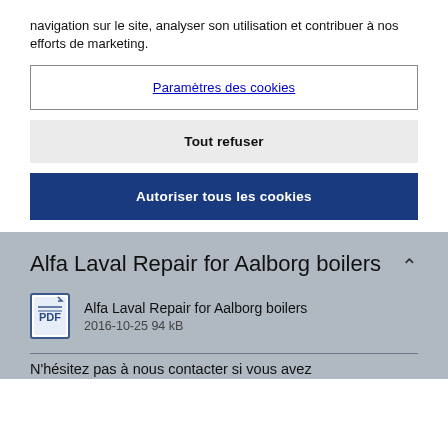navigation sur le site, analyser son utilisation et contribuer à nos efforts de marketing.
Paramètres des cookies
Tout refuser
Autoriser tous les cookies
Alfa Laval Repair for Aalborg boilers
Alfa Laval Repair for Aalborg boilers
2016-10-25 94 kB
N'hésitez pas à nous contacter si vous avez